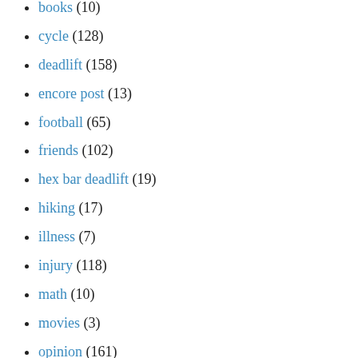books (10)
cycle (128)
deadlift (158)
encore post (13)
football (65)
friends (102)
hex bar deadlift (19)
hiking (17)
illness (7)
injury (118)
math (10)
movies (3)
opinion (161)
personal (364)
politics (307)
rehab (142)
religion (4)